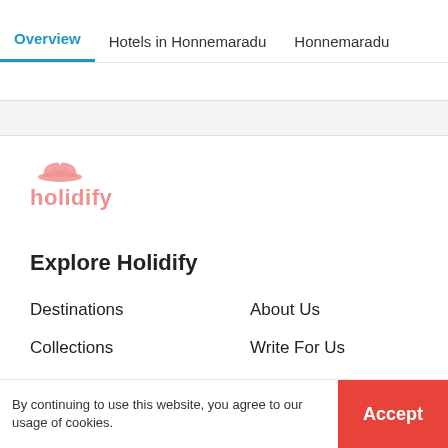Overview | Hotels in Honnemaradu | Honnemaradu
[Figure (logo): Holidify logo in pink/salmon color with a stylized hat/bow icon above the text]
Explore Holidify
Destinations
About Us
Collections
Write For Us
Hotels
Privacy
Packages
Terms
By continuing to use this website, you agree to our usage of cookies.